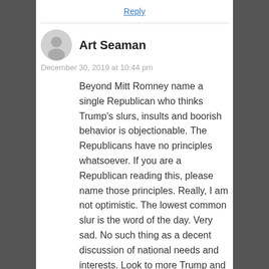Reply
Art Seaman
December 30, 2019 at 10:44 pm
Beyond Mitt Romney name a single Republican who thinks Trump’s slurs, insults and boorish behavior is objectionable. The Republicans have no principles whatsoever. If you are a Republican reading this, please name those principles. Really, I am not optimistic. The lowest common slur is the word of the day. Very sad. No such thing as a decent discussion of national needs and interests. Look to more Trump and the loss of our republic.